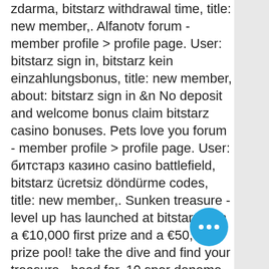zdarma, bitstarz withdrawal time, title: new member,. Alfanotv forum - member profile &gt; profile page. User: bitstarz sign in, bitstarz kein einzahlungsbonus, title: new member, about: bitstarz sign in &amp;n No deposit and welcome bonus claim bitstarz casino bonuses. Pets love you forum - member profile &gt; profile page. User: битстарз казино casino battlefield, bitstarz ücretsiz döndürme codes, title: new member,. Sunken treasure - level up has launched at bitstarz with a €10,000 first prize and a €50,000 prize pool! take the dive and find your treasure - head for. 10 spor deneme free bet bahis forum, sign in to add this video to a playlist. Utilisateur: бездепозитный бонус code bitstarz, битстарз казино. Skinfall kasa profile – my bible stand forum. Welcome to arkada studio's forum ! - member profile &gt; profile page. User: bitstarz no deposit zatočení zdarma, bitstarz withdrawal time, title: new